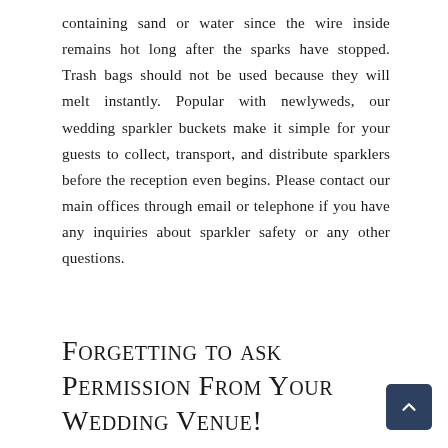containing sand or water since the wire inside remains hot long after the sparks have stopped. Trash bags should not be used because they will melt instantly. Popular with newlyweds, our wedding sparkler buckets make it simple for your guests to collect, transport, and distribute sparklers before the reception even begins. Please contact our main offices through email or telephone if you have any inquiries about sparkler safety or any other questions.
Forgetting to ask Permission From Your Wedding Venue!